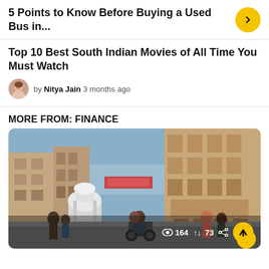5 Points to Know Before Buying a Used Bus in...
Top 10 Best South Indian Movies of All Time You Must Watch
by Nitya Jain 3 months ago
MORE FROM: FINANCE
[Figure (photo): Street scene in an Indian city with old buildings, people walking, and a motorcyclist. Stats overlay: 164 views, 73 shares.]